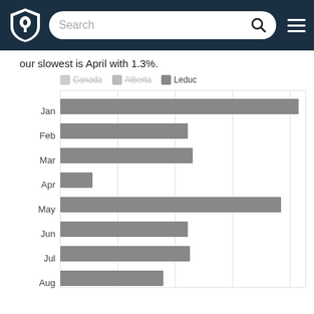[Figure (screenshot): Navigation bar with shield logo, search bar, and hamburger menu on dark blue background]
our slowest is April with 1.3%.
[Figure (bar-chart): Monthly statistics for Canada, Alberta, and Leduc]